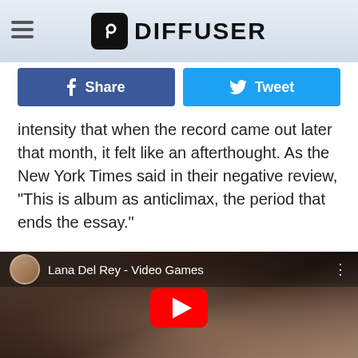DIFFUSER
Share | Tweet
intensity that when the record came out later that month, it felt like an afterthought. As the New York Times said in their negative review, “This is album as anticlimax, the period that ends the essay.”
[Figure (screenshot): Embedded YouTube video player showing Lana Del Rey - Video Games with play button overlay and channel avatar thumbnail]